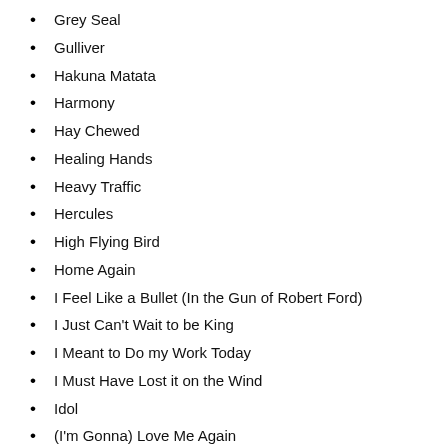Grey Seal
Gulliver
Hakuna Matata
Harmony
Hay Chewed
Healing Hands
Heavy Traffic
Hercules
High Flying Bird
Home Again
I Feel Like a Bullet (In the Gun of Robert Ford)
I Just Can't Wait to be King
I Meant to Do my Work Today
I Must Have Lost it on the Wind
Idol
(I'm Gonna) Love Me Again
I'm Still Standing
Japanese Hands
Latitude
Levan